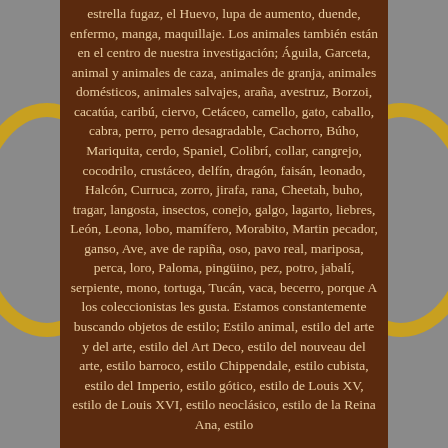estrella fugaz, el Huevo, lupa de aumento, duende, enfermo, manga, maquillaje. Los animales también están en el centro de nuestra investigación; Águila, Garceta, animal y animales de caza, animales de granja, animales domésticos, animales salvajes, araña, avestruz, Borzoi, cacatúa, caribú, ciervo, Cetáceo, camello, gato, caballo, cabra, perro, perro desagradable, Cachorro, Búho, Mariquita, cerdo, Spaniel, Colibrí, collar, cangrejo, cocodrilo, crustáceo, delfín, dragón, faisán, leonado, Halcón, Curruca, zorro, jirafa, rana, Cheetah, buho, tragar, langosta, insectos, conejo, galgo, lagarto, liebres, León, Leona, lobo, mamífero, Morabito, Martin pecador, ganso, Ave, ave de rapiña, oso, pavo real, mariposa, perca, loro, Paloma, pingüino, pez, potro, jabalí, serpiente, mono, tortuga, Tucán, vaca, becerro, porque A los coleccionistas les gusta. Estamos constantemente buscando objetos de estilo; Estilo animal, estilo del arte y del arte, estilo del Art Deco, estilo del nouveau del arte, estilo barroco, estilo Chippendale, estilo cubista, estilo del Imperio, estilo gótico, estilo de Louis XV, estilo de Louis XVI, estilo neoclásico, estilo de la Reina Ana, estilo